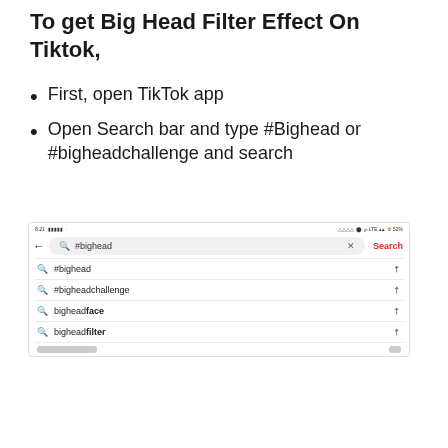To get Big Head Filter Effect On Tiktok,
First, open TikTok app
Open Search bar and type #Bighead or #bigheadchallenge and search
[Figure (screenshot): TikTok app screenshot showing search bar with '#bighead' typed, and suggestions: #bighead, #bigheadchallenge, bigheadface, bigheadfilter]